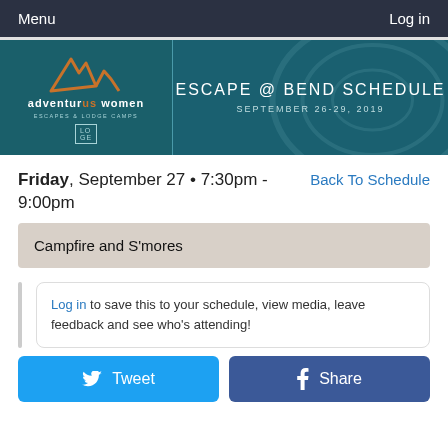Menu   Log in
[Figure (logo): AdventurUs Women logo with orange mountain/wave graphic and text 'adventuruswomen ESCAPES & LODGE CAMPS' with a small box icon]
ESCAPE @ BEND SCHEDULE SEPTEMBER 26-29, 2019
Friday, September 27 • 7:30pm - 9:00pm
Back To Schedule
Campfire and S'mores
Log in to save this to your schedule, view media, leave feedback and see who's attending!
Tweet   Share